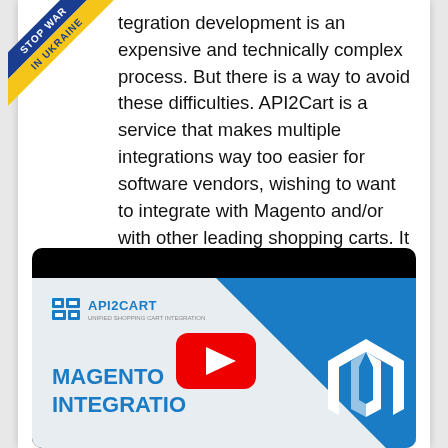[Figure (illustration): Stop War In Ukraine diagonal ribbon banner in blue and yellow overlaid on the top-left corner of the page]
tegration development is an expensive and technically complex process. But there is a way to avoid these difficulties. API2Cart is a service that makes multiple integrations way too easier for software vendors, wishing to want to integrate with Magento and/or with other leading shopping carts. It provides a unified API for multiple shopping cart solutions including Magento.
[Figure (screenshot): Video thumbnail for Magento Integration content. Shows API2Cart logo at top-left, 'MAGENTO INTEGRATIO...' text in blue at bottom-left, a YouTube play button in the center, a blue diagonal design element on the right, and the Magento logo (white arch icon) on the right side. The thumbnail has a black bar at the top.]